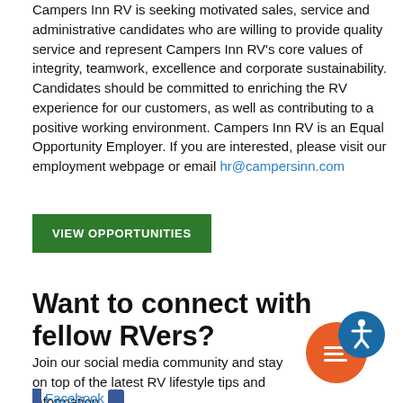Campers Inn RV is seeking motivated sales, service and administrative candidates who are willing to provide quality service and represent Campers Inn RV's core values of integrity, teamwork, excellence and corporate sustainability. Candidates should be committed to enriching the RV experience for our customers, as well as contributing to a positive working environment. Campers Inn RV is an Equal Opportunity Employer. If you are interested, please visit our employment webpage or email hr@campersinn.com
VIEW OPPORTUNITIES
Want to connect with fellow RVers?
Join our social media community and stay on top of the latest RV lifestyle tips and information.
Facebook
Twitter